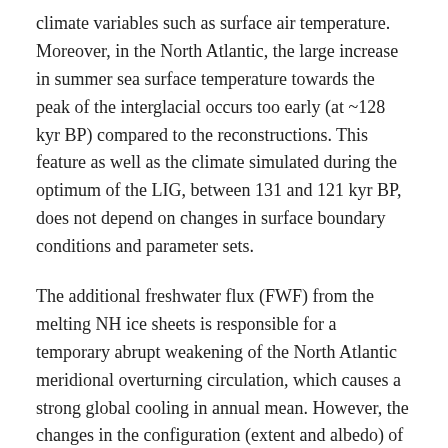climate variables such as surface air temperature. Moreover, in the North Atlantic, the large increase in summer sea surface temperature towards the peak of the interglacial occurs too early (at ~128 kyr BP) compared to the reconstructions. This feature as well as the climate simulated during the optimum of the LIG, between 131 and 121 kyr BP, does not depend on changes in surface boundary conditions and parameter sets.
The additional freshwater flux (FWF) from the melting NH ice sheets is responsible for a temporary abrupt weakening of the North Atlantic meridional overturning circulation, which causes a strong global cooling in annual mean. However, the changes in the configuration (extent and albedo) of the NH ice sheets during the LIG only slightly impact the simulated climate. Together, configuration of and FWF from the NH ice sheets greatly increase the magnitude of the temperature variations over continents as well as over the ocean at the